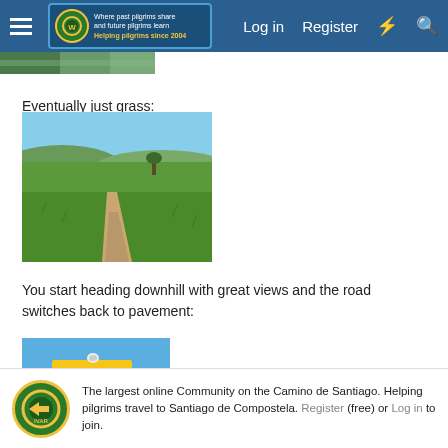Log in  Register
[Figure (photo): Partial view of a landscape/nature image cropped at top of page]
Eventually just grass:
[Figure (photo): Green grassy hillside with dirt path and mountains in background under blue sky]
You start heading downhill with great views and the road switches back to pavement:
[Figure (photo): Yellow road signs against a blue sky, pilgrimage route markers]
The largest online Community on the Camino de Santiago. Helping pilgrims travel to Santiago de Compostela. Register (free) or Log in to join.